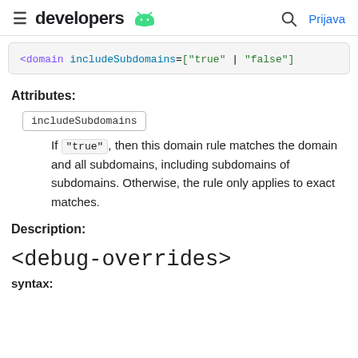developers [android] | Search | Prijava
<domain includeSubdomains=["true" | "false"]
Attributes:
includeSubdomains
If "true", then this domain rule matches the domain and all subdomains, including subdomains of subdomains. Otherwise, the rule only applies to exact matches.
Description:
<debug-overrides>
syntax: